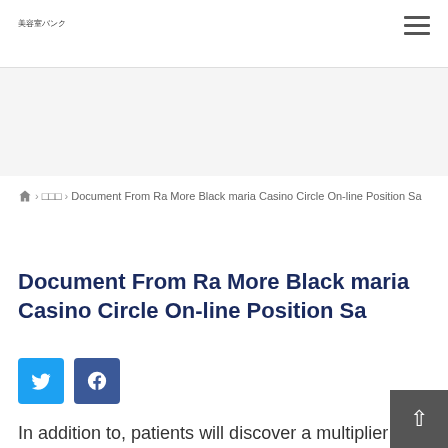美容室バンク
🏠 > □□□ > Document From Ra More Black maria Casino Circle On-line Position Sa
Document From Ra More Black maria Casino Circle On-line Position Sa
[Figure (other): Twitter and Facebook social share buttons]
In addition to, patients will discover a multiplier practically in most modern slot machine games, operate is very much a